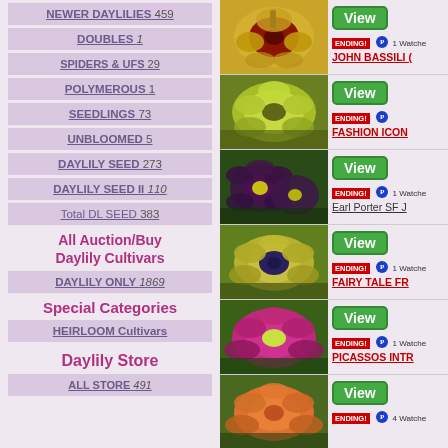NEWER DAYLILIES 459
DOUBLES 1
SPIDERS & UFS 29
POLYMEROUS 1
SEEDLINGS 73
UNBLOOMED 5
DAYLILY SEED 273
DAYLILY SEED II 110
Total DL SEED 383
All Auction/Buy Daylily Cultivars
DAYLILY ONLY 1869
Special Categories
HEIRLOOM Cultivars
Daylily Store
ALL STORE 491
[Figure (photo): Yellow and red daylily flower - JOHN BASSILI listing, ENDING! 1 Watcher]
[Figure (photo): Yellow-green daylily flower - FASHION ICON listing, ENDING!]
[Figure (photo): Dark purple daylily flower - Earl Porter SF J listing, ENDING! 1 Watcher]
[Figure (photo): Yellow-green daylily flower with purple eye - FAIRY TALE FR listing, ENDING! 1 Watcher]
[Figure (photo): Pink and purple daylily flower - PICASSOS INTR listing, ENDING! 1 Watcher]
[Figure (photo): Orange-pink daylily flower - listing, ENDING! 4 Watchers]